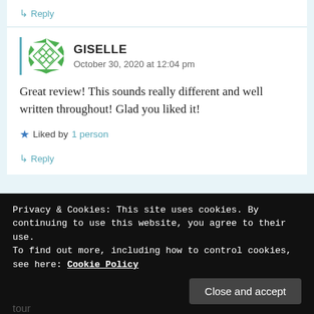↳ Reply
GISELLE
October 30, 2020 at 12:04 pm
Great review! This sounds really different and well written throughout! Glad you liked it!
★ Liked by 1 person
↳ Reply
Privacy & Cookies: This site uses cookies. By continuing to use this website, you agree to their use.
To find out more, including how to control cookies, see here: Cookie Policy
Close and accept
tour